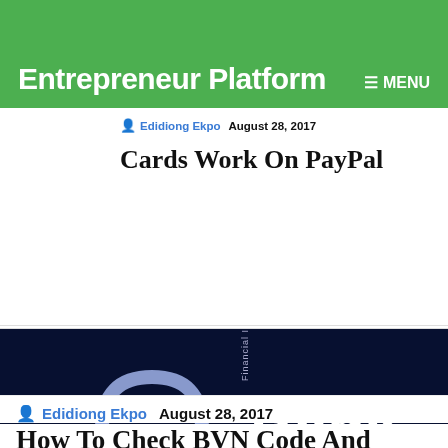Entrepreneur Platform   MENU
Edidiong Ekpo  August 28, 2017
Cards Work On PayPal
[Figure (photo): Bank Verification Number promotional image on dark blue background. Shows a padlock with fingerprint icon and text: 'Bank Verification Number', 'GET FASTER SERVICE FROM YOUR BANK', 'REDUCE FRAUD ON YOUR BANK ACCOUNT', 'An initiative of THE CENTRAL BANK OF...']
Edidiong Ekpo  August 28, 2017
How To Check BVN Code And